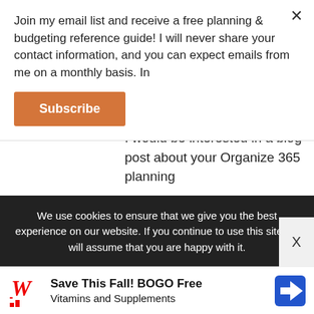Join my email list and receive a free planning & budgeting reference guide! I will never share your contact information, and you can expect emails from me on a monthly basis. In
Subscribe
graduation. That's quite an accomplishment for you as their leader. You should be proud to be sending new pediatricians out into the world.
I would be interested in a blog post about your Organize 365 planning
We use cookies to ensure that we give you the best experience on our website. If you continue to use this site we will assume that you are happy with it.
Save This Fall! BOGO Free Vitamins and Supplements